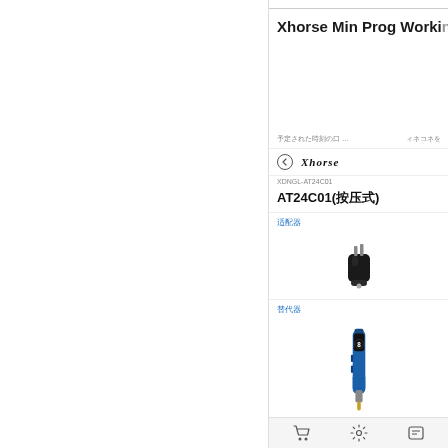Xhorse Min Prog Working
[Figure (screenshot): Screenshot of a product page showing Xhorse AT24C01(按压式) adapter. Page includes navigation bar, Xhorse logo, product SKU XDNGL-AT24C01, product name AT24C01(按压式), adapter section with image of a black adapter, and 替代器 section with image of a blue/black Xhorse Mini Prog device.]